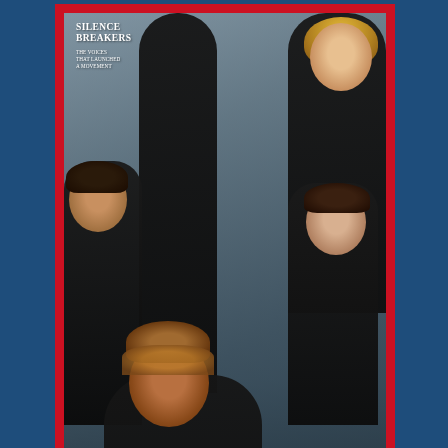[Figure (photo): Time magazine cover showing 'The Silence Breakers: The Voices That Launched A Movement' with five women dressed in black posing together against a grey background. The cover has a red border typical of Time magazine.]
Image Credit: Time Inc.
“Just because I move through public space, doesn’t mean my body is public space” – Anon